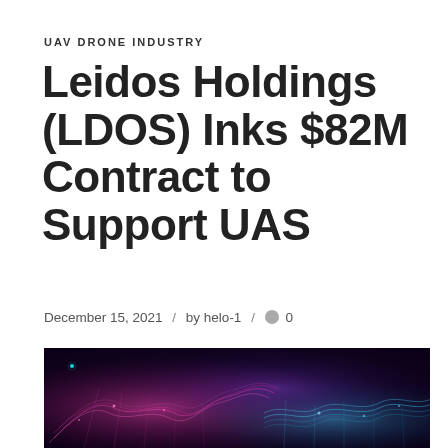UAV DRONE INDUSTRY
Leidos Holdings (LDOS) Inks $82M Contract to Support UAS
December 15, 2021 / by helo-1 / 💬 0
[Figure (illustration): Abstract digital wave visualization with pink and blue glowing mesh waves on dark background]